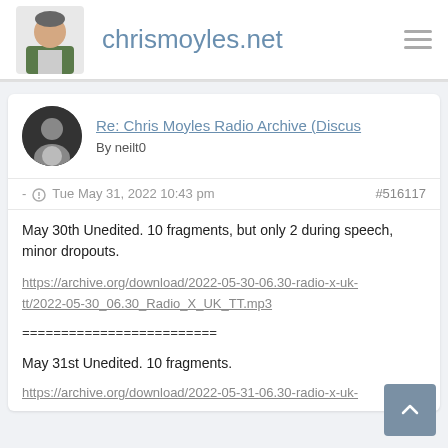chrismoyles.net
Re: Chris Moyles Radio Archive (Discussion)
By neilt0
- Tue May 31, 2022 10:43 pm  #516117
May 30th Unedited. 10 fragments, but only 2 during speech, minor dropouts.
https://archive.org/download/2022-05-30-06.30-radio-x-uk-tt/2022-05-30_06.30_Radio_X_UK_TT.mp3
=========================
May 31st Unedited. 10 fragments.
https://archive.org/download/2022-05-31-06.30-radio-x-uk-